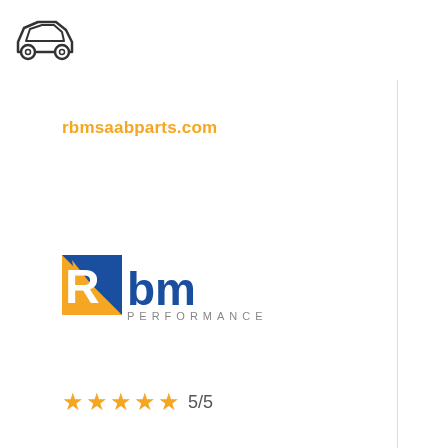[Figure (illustration): Car icon outline drawing at top left]
rbmsaabparts.com
[Figure (logo): RBM Performance logo with blue and yellow lettering]
5/5